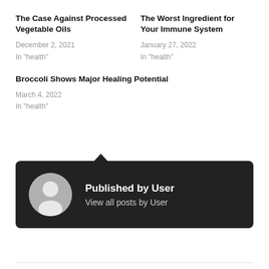The Case Against Processed Vegetable Oils
December 2, 2021
In "health"
The Worst Ingredient for Your Immune System
January 27, 2022
In "health"
Broccoli Shows Major Healing Potential
March 4, 2022
In "health"
[Figure (illustration): Dark author card with avatar icon showing 'Published by User' and 'View all posts by User']